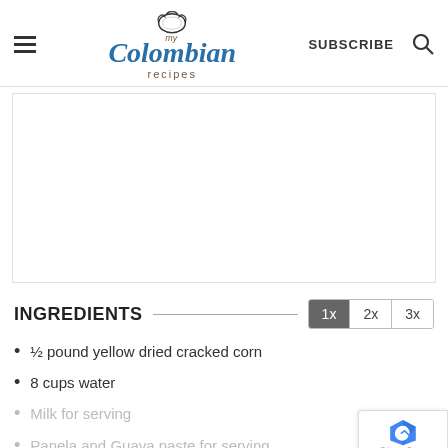my Colombian recipes — SUBSCRIBE
[Figure (other): White advertisement/content area placeholder]
INGREDIENTS
½ pound yellow dried cracked corn
8 cups water
Milk for serving
Panela and Guava paste for serving